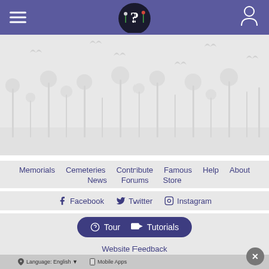Find A Grave navigation header with hamburger menu, logo, and user icon
[Figure (illustration): Decorative floral/nature background with silhouettes of flowers, plants, and butterflies in light gray on a light gray background]
Memorials
Cemeteries
Contribute
Famous
Help
About
News
Forums
Store
Facebook  Twitter  Instagram
Tour  Tutorials
Website Feedback
Language: English  Mobile Apps